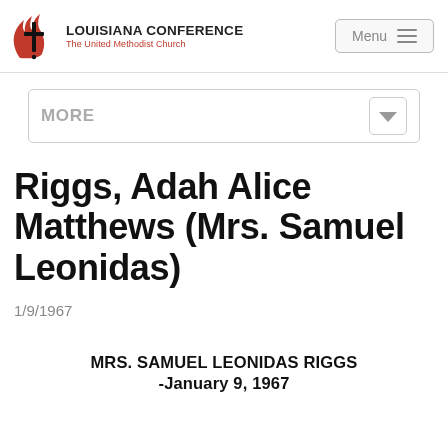LOUISIANA CONFERENCE The United Methodist Church
Riggs, Adah Alice Matthews (Mrs. Samuel Leonidas)
1/9/1967
MRS. SAMUEL LEONIDAS RIGGS -January 9, 1967